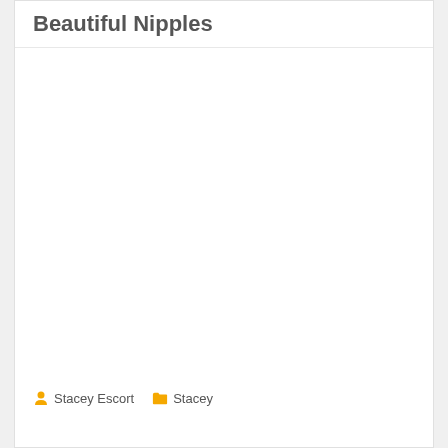Beautiful Nipples
[Figure (photo): Large blank/white image area representing a photo]
Stacey Escort   Stacey